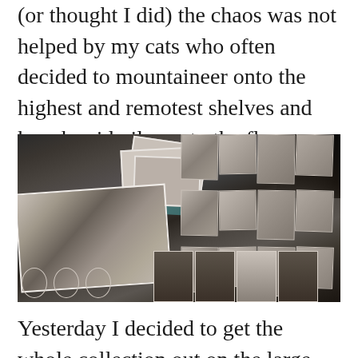(or thought I did) the chaos was not helped by my cats who often decided to mountaineer onto the highest and remotest shelves and knock said piles onto the floor.
[Figure (photo): A large pile of old black-and-white photographs stacked and spread across a surface. Visible is a group photo of several people posing together on the lower left, with many other loose photographs, stacked prints, and a teal storage box scattered across the surface. Some oval portrait photographs are visible at the bottom.]
Yesterday I decided to get the whole collection out on the large dining room table and sort